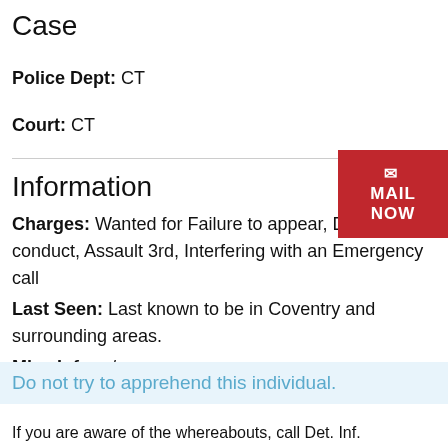Case
Police Dept: CT
Court: CT
Information
Charges: Wanted for Failure to appear, Disorderly conduct, Assault 3rd, Interfering with an Emergency call
Last Seen: Last known to be in Coventry and surrounding areas.
Misc Info: n/a
Do not try to apprehend this individual.
If you are aware of the whereabouts, call Det. Inf.